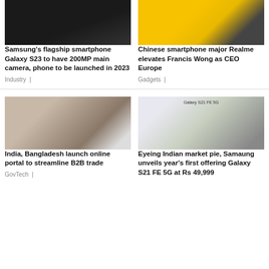[Figure (photo): Samsung Galaxy S23 smartphone on dark background]
[Figure (photo): Man in suit on yellow background - Realme CEO Francis Wong]
Samsung's flagship smartphone Galaxy S23 to have 200MP main camera, phone to be launched in 2023
Industry |
Chinese smartphone major Realme elevates Francis Wong as CEO Europe
Gadgets |
[Figure (photo): Indian man at press conference with microphones]
[Figure (photo): Samsung Galaxy S21 FE 5G phones in multiple colors]
India, Bangladesh launch online portal to streamline B2B trade
GovTech |
Eyeing Indian market pie, Samaung unveils year's first offering Galaxy S21 FE 5G at Rs 49,999